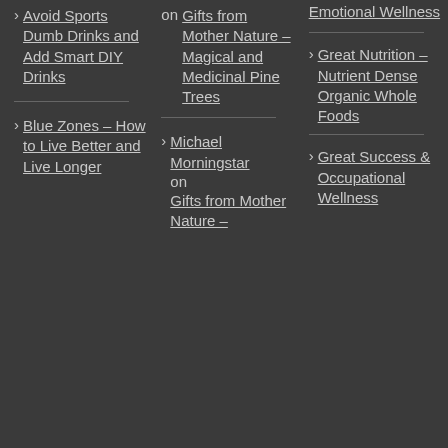Avoid Sports Dumb Drinks and Add Smart DIY Drinks
Blue Zones – How to Live Better and Live Longer
on Gifts from Mother Nature – Magical and Medicinal Pine Trees
Michael Morningstar on Gifts from Mother Nature –
Emotional Wellness
Great Nutrition – Nutrient Dense Organic Whole Foods
Great Success & Occupational Wellness